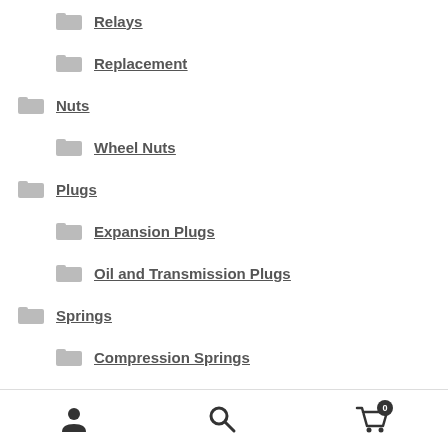Relays
Replacement
Nuts
Wheel Nuts
Plugs
Expansion Plugs
Oil and Transmission Plugs
Springs
Compression Springs
Extension Springs
Studs
User account | Search | Cart (0)